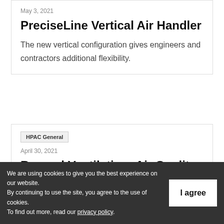May 3, 2021
PreciseLine Vertical Air Handler
The new vertical configuration gives engineers and contractors additional flexibility.
HPAC General
April 30, 2021
Beyond Ventilation: Air Quality...
We are using cookies to give you the best experience on our website.
By continuing to use the site, you agree to the use of cookies.
To find out more, read our privacy policy.